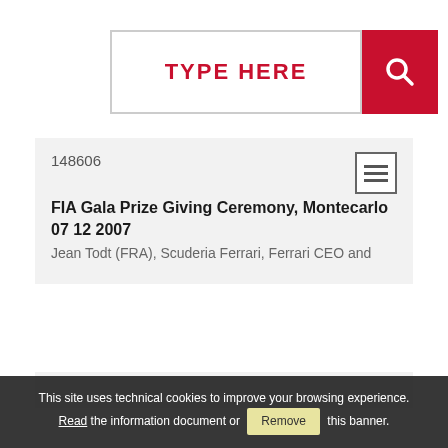[Figure (screenshot): Search bar with red 'TYPE HERE' placeholder text on the left and a red search button with magnifying glass icon on the right]
148606
FIA Gala Prize Giving Ceremony, Montecarlo 07 12 2007
Jean Todt (FRA), Scuderia Ferrari, Ferrari CEO and
This site uses technical cookies to improve your browsing experience. Read the information document or Remove this banner.